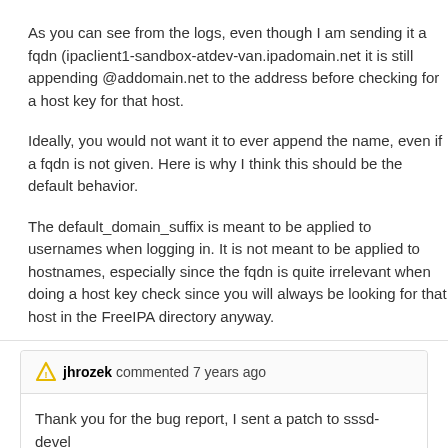As you can see from the logs, even though I am sending it a fqdn (ipaclient1-sandbox-atdev-van.ipadomain.net it is still appending @addomain.net to the address before checking for a host key for that host.
Ideally, you would not want it to ever append the name, even if a fqdn is not given. Here is why I think this should be the default behavior.
The default_domain_suffix is meant to be applied to usernames when logging in. It is not meant to be applied to hostnames, especially since the fqdn is quite irrelevant when doing a host key check since you will always be looking for that host in the FreeIPA directory anyway.
jhrozek commented 7 years ago
Thank you for the bug report, I sent a patch to sssd-devel